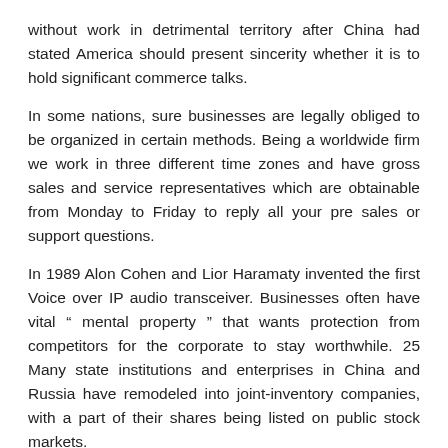without work in detrimental territory after China had stated America should present sincerity whether it is to hold significant commerce talks.
In some nations, sure businesses are legally obliged to be organized in certain methods. Being a worldwide firm we work in three different time zones and have gross sales and service representatives which are obtainable from Monday to Friday to reply all your pre sales or support questions.
In 1989 Alon Cohen and Lior Haramaty invented the first Voice over IP audio transceiver. Businesses often have vital “ mental property ” that wants protection from competitors for the corporate to stay worthwhile. 25 Many state institutions and enterprises in China and Russia have remodeled into joint-inventory companies, with a part of their shares being listed on public stock markets.
No paperwork or filing is critical to create a partnership, and with out…